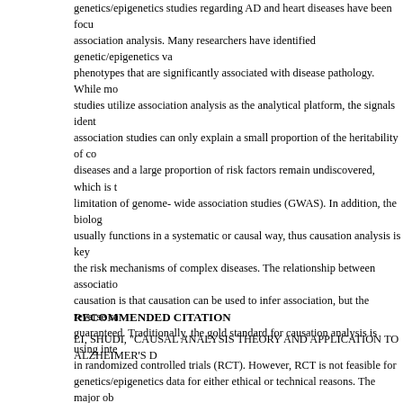genetics/epigenetics studies regarding AD and heart diseases have been focused on association analysis. Many researchers have identified genetic/epigenetics variants and phenotypes that are significantly associated with disease pathology. While most of the studies utilize association analysis as the analytical platform, the signals identified by association studies can only explain a small proportion of the heritability of complex diseases and a large proportion of risk factors remain undiscovered, which is the major limitation of genome- wide association studies (GWAS). In addition, the biological system usually functions in a systematic or causal way, thus causation analysis is key to uncover the risk mechanisms of complex diseases. The relationship between association and causation is that causation can be used to infer association, but the reverse cannot be guaranteed. Traditionally, the gold standard for causation analysis is using interventions in randomized controlled trials (RCT). However, RCT is not feasible for genetics/epigenetics data for either ethical or technical reasons. The major objective of this research is thus to propose methods to uncover the causal mechanisms between genetic/epigenetic factors and phenotypes such as environmental and lifestyle factors of complex diseases. First, I proposed a bivariate causal discovery method to uncover the pairwise causal relationships between factors. Second, I proposed a network-based framework to construct the causal network among genetic/epigenetic variants and phenotypic factors. Finally, I applied the bivariate causal discovery method and the network construction method to the two complex diseases: Alzheimer's disease (AD) and heart failure (HF) data. Simulations and applications results were discussed in the following sections.
RECOMMENDED CITATION
LI, SHUDI, "CAUSAL ANALYSIS THEORY AND APPLICATION TO ALZHEIMER'S D...